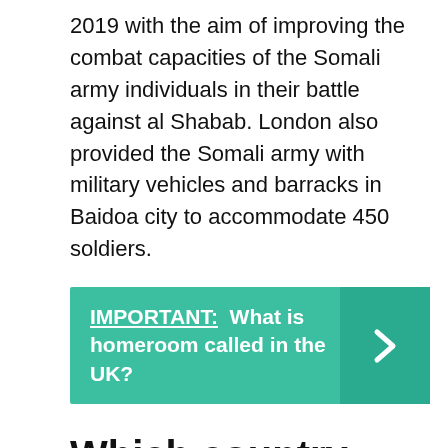2019 with the aim of improving the combat capacities of the Somali army individuals in their battle against al Shabab. London also provided the Somali army with military vehicles and barracks in Baidoa city to accommodate 450 soldiers.
[Figure (infographic): Teal callout box with text 'IMPORTANT: What is homeroom called in the UK?' and a right-arrow chevron on the darker teal right panel.]
Which country helped Somalia?
By the end of the 1980s, Somalia's initial friendship with the Soviet Union and subsequent partnership with the United States enabled it to build the largest army on